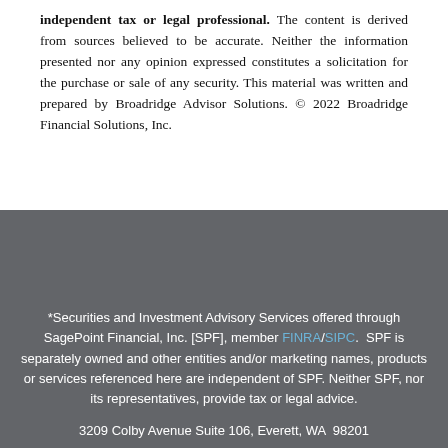independent tax or legal professional. The content is derived from sources believed to be accurate. Neither the information presented nor any opinion expressed constitutes a solicitation for the purchase or sale of any security. This material was written and prepared by Broadridge Advisor Solutions. © 2022 Broadridge Financial Solutions, Inc.
*Securities and Investment Advisory Services offered through SagePoint Financial, Inc. [SPF], member FINRA/SIPC. SPF is separately owned and other entities and/or marketing names, products or services referenced here are independent of SPF. Neither SPF, nor its representatives, provide tax or legal advice.
3209 Colby Avenue Suite 106, Everett, WA 98201